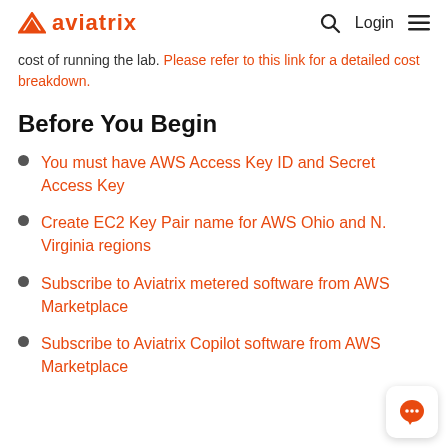aviatrix — Login
cost of running the lab. Please refer to this link for a detailed cost breakdown.
Before You Begin
You must have AWS Access Key ID and Secret Access Key
Create EC2 Key Pair name for AWS Ohio and N. Virginia regions
Subscribe to Aviatrix metered software from AWS Marketplace
Subscribe to Aviatrix Copilot software from AWS Marketplace